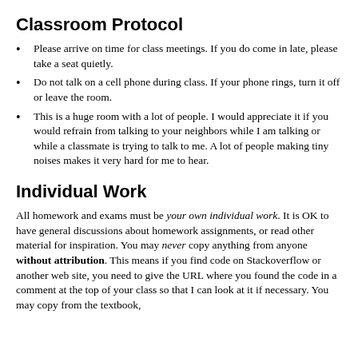Classroom Protocol
Please arrive on time for class meetings. If you do come in late, please take a seat quietly.
Do not talk on a cell phone during class. If your phone rings, turn it off or leave the room.
This is a huge room with a lot of people. I would appreciate it if you would refrain from talking to your neighbors while I am talking or while a classmate is trying to talk to me. A lot of people making tiny noises makes it very hard for me to hear.
Individual Work
All homework and exams must be your own individual work. It is OK to have general discussions about homework assignments, or read other material for inspiration. You may never copy anything from anyone without attribution. This means if you find code on Stackoverflow or another web site, you need to give the URL where you found the code in a comment at the top of your class so that I can look at it if necessary. You may copy from the textbook,